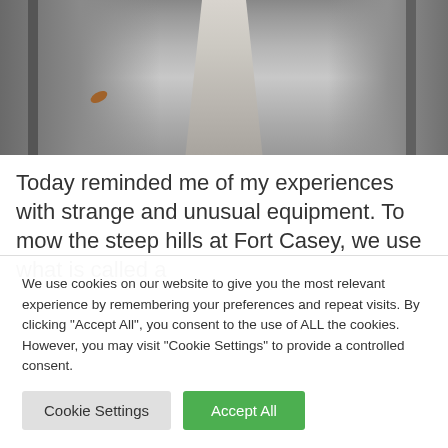[Figure (photo): Close-up photo of wet/damp concrete or stone surface with a pale elongated shape in the center, dark rails or edges visible on left and right sides, and a fallen leaf visible on the lower left area.]
Today reminded me of my experiences with strange and unusual equipment. To mow the steep hills at Fort Casey, we use what is called a
We use cookies on our website to give you the most relevant experience by remembering your preferences and repeat visits. By clicking "Accept All", you consent to the use of ALL the cookies. However, you may visit "Cookie Settings" to provide a controlled consent.